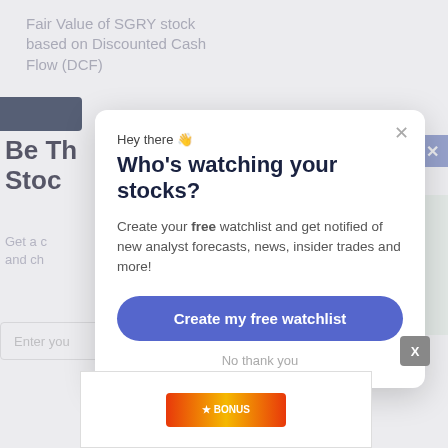Fair Value of SGRY stock based on Discounted Cash Flow (DCF)
Be The First to Know About Stock...
Get a complete view and cha...
[Figure (screenshot): Modal popup overlay on a financial analysis page about SGRY stock DCF valuation, with green chart visible in background]
Hey there 👋
Who's watching your stocks?
Create your free watchlist and get notified of new analyst forecasts, news, insider trades and more!
Create my free watchlist
No thank you